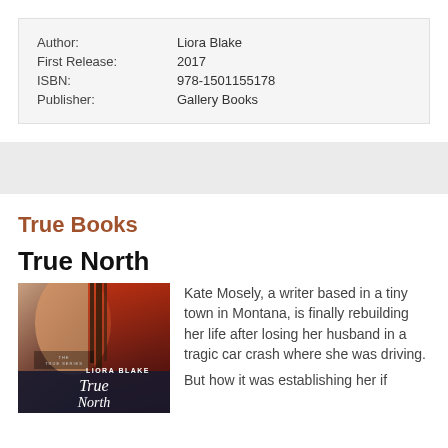| Author: | Liora Blake |
| First Release: | 2017 |
| ISBN: | 978-1501155178 |
| Publisher: | Gallery Books |
True Books
True North
[Figure (photo): Book cover of True North by Liora Blake showing a shirtless man and a woman in a red plaid shirt with the title in script font]
Kate Mosely, a writer based in a tiny town in Montana, is finally rebuilding her life after losing her husband in a tragic car crash where she was driving.
But how it was establishing her if